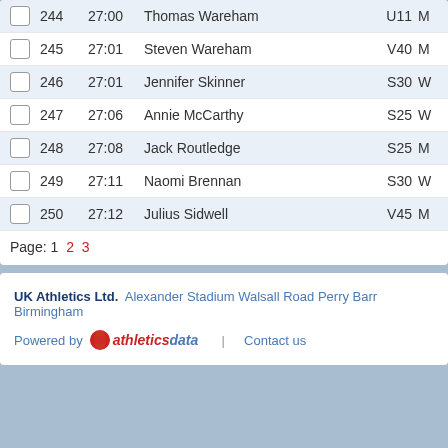|  | # | Time | Name | Category | Gender |
| --- | --- | --- | --- | --- | --- |
| ☐ | 244 | 27:00 | Thomas Wareham | U11 | M |
| ☐ | 245 | 27:01 | Steven Wareham | V40 | M |
| ☐ | 246 | 27:01 | Jennifer Skinner | S30 | W |
| ☐ | 247 | 27:06 | Annie McCarthy | S25 | W |
| ☐ | 248 | 27:08 | Jack Routledge | S25 | M |
| ☐ | 249 | 27:11 | Naomi Brennan | S30 | W |
| ☐ | 250 | 27:12 | Julius Sidwell | V45 | M |
Page: 1 2 3
UK Athletics Ltd. Alexander Stadium Walsall Road Perry Barr Birmingham
Powered by athleticsdata | Contact us